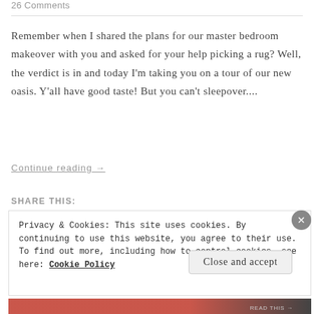26 Comments
Remember when I shared the plans for our master bedroom makeover with you and asked for your help picking a rug? Well, the verdict is in and today I’m taking you on a tour of our new oasis. Y’all have good taste! But you can’t sleepover....
Continue reading →
SHARE THIS:
Privacy & Cookies: This site uses cookies. By continuing to use this website, you agree to their use.
To find out more, including how to control cookies, see here: Cookie Policy
Close and accept